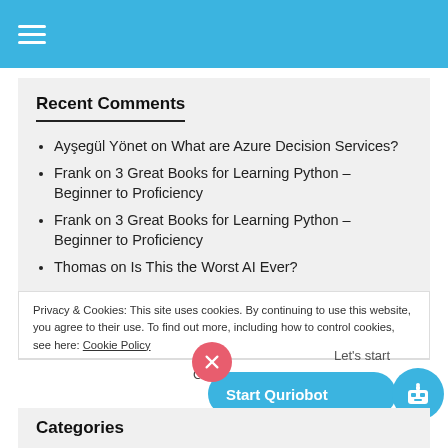Recent Comments
Ayşegül Yönet on What are Azure Decision Services?
Frank on 3 Great Books for Learning Python – Beginner to Proficiency
Frank on 3 Great Books for Learning Python – Beginner to Proficiency
Thomas on Is This the Worst AI Ever?
Privacy & Cookies: This site uses cookies. By continuing to use this website, you agree to their use. To find out more, including how to control cookies, see here: Cookie Policy
Close and accept
Categories